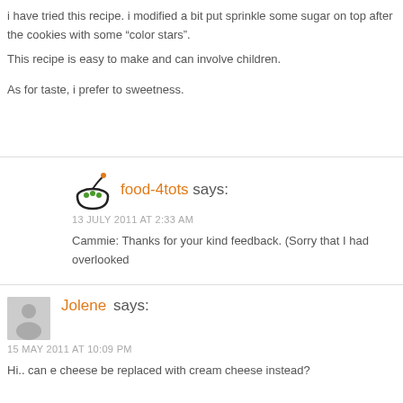i have tried this recipe. i modified a bit put sprinkle some sugar on top after the cookies with some “color stars”.
This recipe is easy to make and can involve children.
As for taste, i prefer to sweetness.
food-4tots says:
13 JULY 2011 AT 2:33 AM
Cammie: Thanks for your kind feedback. (Sorry that I had overlooked
Jolene says:
15 MAY 2011 AT 10:09 PM
Hi.. can e cheese be replaced with cream cheese instead?